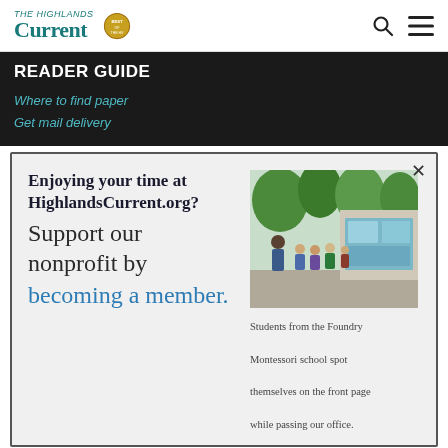The Highlands Current
READER GUIDE
Where to find paper
Get mail delivery
Enjoying your time at HighlandsCurrent.org? Support our nonprofit by becoming a member.
[Figure (photo): Students from the Foundry Montessori school standing in front of a mural/window display outdoors among green trees, with a teacher beside them.]
Students from the Foundry Montessori school spot themselves on the front page while passing our office.